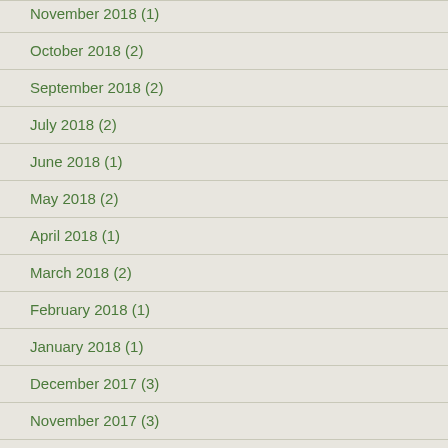November 2018 (1)
October 2018 (2)
September 2018 (2)
July 2018 (2)
June 2018 (1)
May 2018 (2)
April 2018 (1)
March 2018 (2)
February 2018 (1)
January 2018 (1)
December 2017 (3)
November 2017 (3)
October 2017 (2)
September 2017 (5)
August 2017 (1)